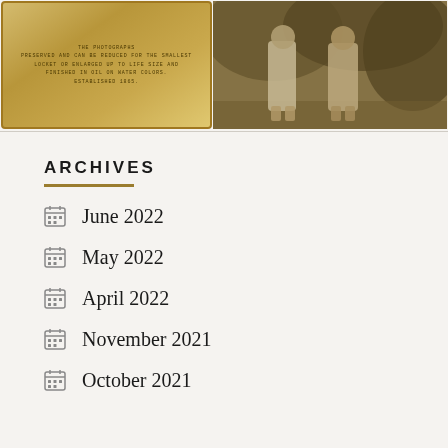[Figure (photo): Two sepia-toned images side by side: left shows a golden plaque with text about preservation and enlargement, established 1865; right shows a vintage sepia photograph of two young women outdoors.]
ARCHIVES
June 2022
May 2022
April 2022
November 2021
October 2021